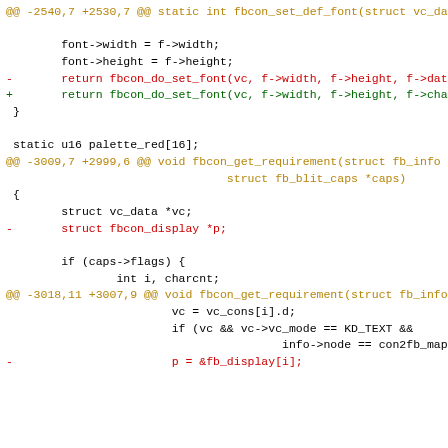Code diff showing changes to fbcon_set_def_font and fbcon_get_requirement functions in a Linux kernel framebuffer console source file.